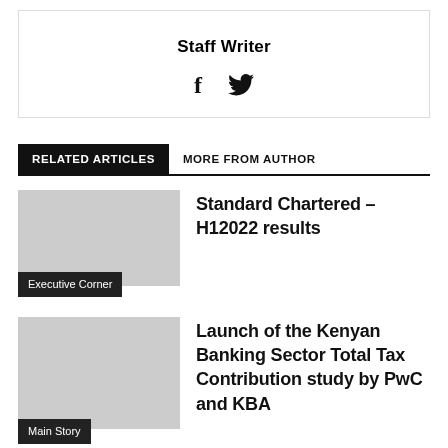Staff Writer
[Figure (other): Social media icons: Facebook (f) and Twitter (bird)]
RELATED ARTICLES  MORE FROM AUTHOR
Standard Chartered – H12022 results
Executive Corner
Launch of the Kenyan Banking Sector Total Tax Contribution study by PwC and KBA
Main Story